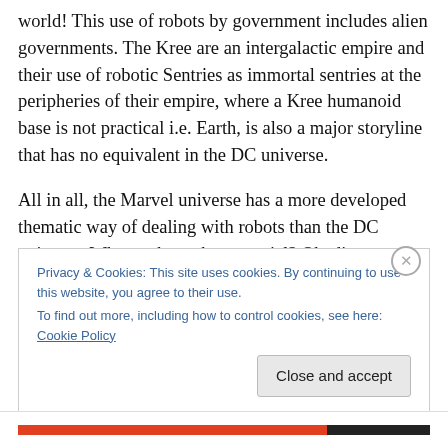world!  This use of robots by government includes alien governments.  The Kree are an intergalactic empire and their use of robotic Sentries as immortal sentries at the peripheries of their empire, where a Kree humanoid base is not practical i.e. Earth, is also a major storyline that has no equivalent in the DC universe.
All in all, the Marvel universe has a more developed thematic way of dealing with robots than the DC universe.  What makes robots special?  Obedience and functional immortality!  They are the perfect servants of the state that
Privacy & Cookies: This site uses cookies. By continuing to use this website, you agree to their use.
To find out more, including how to control cookies, see here: Cookie Policy